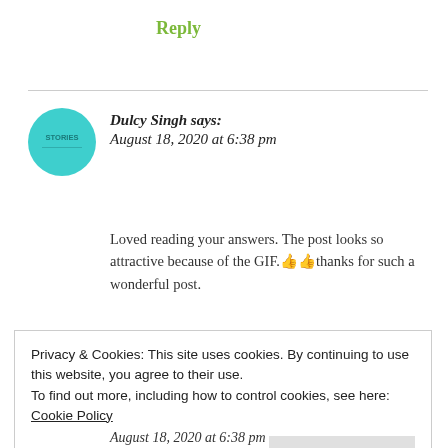Reply
Dulcy Singh says:
August 18, 2020 at 6:38 pm
Loved reading your answers. The post looks so attractive because of the GIF.👍👍thanks for such a wonderful post.
★ Liked by 2 people
Privacy & Cookies: This site uses cookies. By continuing to use this website, you agree to their use.
To find out more, including how to control cookies, see here: Cookie Policy
Close and accept
August 18, 2020 at 6:38 pm